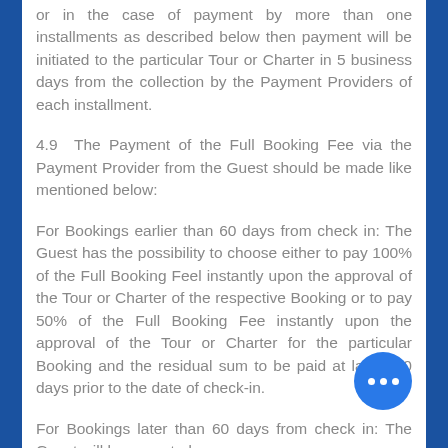or in the case of payment by more than one installments as described below then payment will be initiated to the particular Tour or Charter in 5 business days from the collection by the Payment Providers of each installment.
4.9 The Payment of the Full Booking Fee via the Payment Provider from the Guest should be made like mentioned below:
For Bookings earlier than 60 days from check in: The Guest has the possibility to choose either to pay 100% of the Full Booking Feel instantly upon the approval of the Tour or Charter of the respective Booking or to pay 50% of the Full Booking Fee instantly upon the approval of the Tour or Charter for the particular Booking and the residual sum to be paid at latest 60 days prior to the date of check-in.
For Bookings later than 60 days from check in: The Guest will be expected